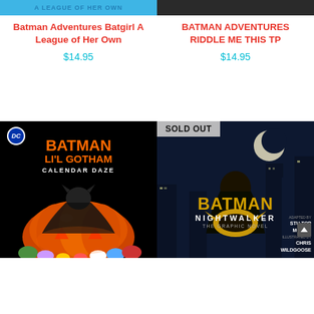[Figure (photo): Batman Adventures Batgirl A League of Her Own book cover — partial blue strip visible at top]
Batman Adventures Batgirl A League of Her Own
$14.95
[Figure (photo): Batman Adventures Riddle Me This TP book cover — partial dark strip visible at top]
BATMAN ADVENTURES RIDDLE ME THIS TP
$14.95
[Figure (photo): Batman Li'l Gotham Calendar Daze book cover — black background with orange title text, DC logo, Batman and villains on pumpkins]
[Figure (photo): Batman Nightwalker The Graphic Novel book cover — dark night cityscape, caped figure, SOLD OUT banner. By Marie Lu, art by Stuart Moore and Chris Wildgoose]